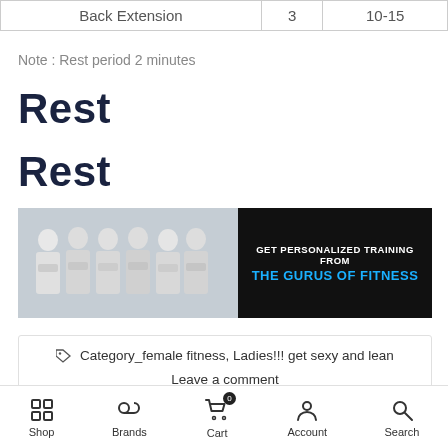|  |  |  |
| --- | --- | --- |
| Back Extension | 3 | 10-15 |
Note : Rest period 2 minutes
Rest
Rest
[Figure (photo): Banner ad showing group of fitness trainers with text 'GET PERSONALIZED TRAINING FROM THE GURUS OF FITNESS']
Category_female fitness, Ladies!!! get sexy and lean
Leave a comment